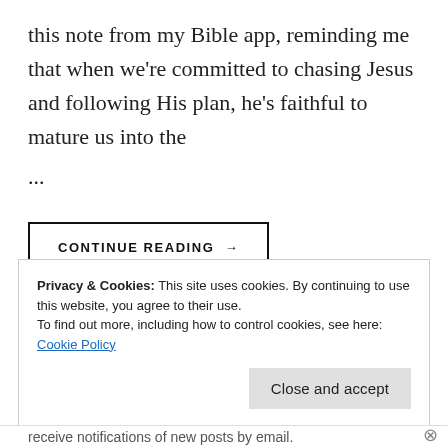this note from my Bible app, reminding me that when we're committed to chasing Jesus and following His plan, he's faithful to mature us into the
...
CONTINUE READING →
Privacy & Cookies: This site uses cookies. By continuing to use this website, you agree to their use.
To find out more, including how to control cookies, see here: Cookie Policy
Close and accept
receive notifications of new posts by email.